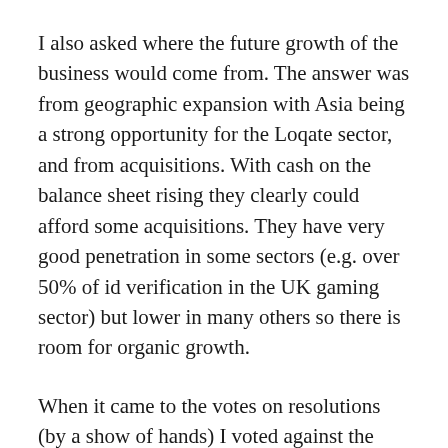I also asked where the future growth of the business would come from. The answer was from geographic expansion with Asia being a strong opportunity for the Loqate sector, and from acquisitions. With cash on the balance sheet rising they clearly could afford some acquisitions. They have very good penetration in some sectors (e.g. over 50% of id verification in the UK gaming sector) but lower in many others so there is room for organic growth.
When it came to the votes on resolutions (by a show of hands) I voted against the Remuneration Report and a new “Performance Share Plan”. The latter enables grants of options over 100% of employees’ salary each